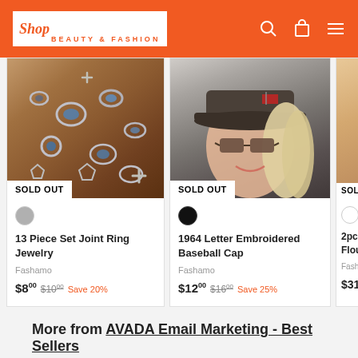Shop FASHAMO - BEAUTY & FASHION
[Figure (photo): Product image: 13 Piece Set Joint Ring Jewelry - silver rings with blue stones on brown background, SOLD OUT badge]
13 Piece Set Joint Ring Jewelry
Fashamo
$8.00  $10.00  Save 20%
[Figure (photo): Product image: woman wearing dark baseball cap with sunglasses, SOLD OUT badge]
1964 Letter Embroidered Baseball Cap
Fashamo
$12.00  $16.00  Save 25%
[Figure (photo): Partial product image: 2pcs Flo... Flounce... - partial view, SOLD OUT badge]
2pcs Flo... Flounce...
Fashamo
$31.00
More from AVADA Email Marketing - Best Sellers